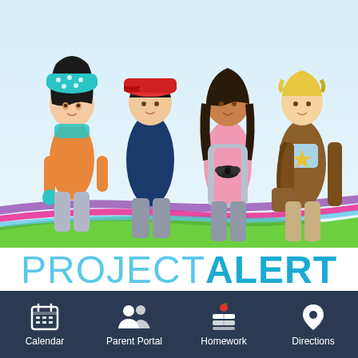[Figure (illustration): Four animated cartoon teenagers standing together against a light blue background with colorful swoosh ribbons at the bottom. From left to right: a girl with a teal polka-dot hat, dark hair, orange sweater; a boy with red cap, dark hair, dark blue hoodie; a girl with dark hair, pink top with bow, gray pants; a boy with blonde hair, brown jacket, carrying a bag.]
PROJECT ALERT
School based, substance abuse prevention for grades 7 and 8.
Calendar
Parent Portal
Homework
Directions